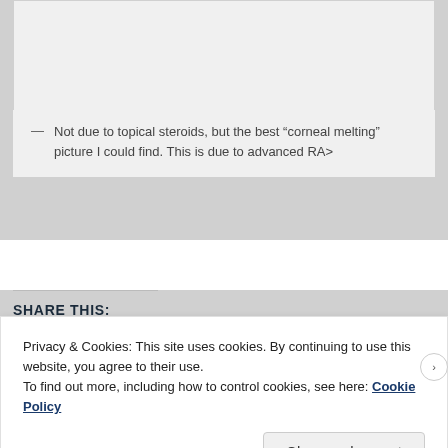[Figure (photo): Medical image area (partially visible, cropped at top)]
— Not due to topical steroids, but the best “corneal melting” picture I could find. This is due to advanced RA>
SHARE THIS:
Privacy & Cookies: This site uses cookies. By continuing to use this website, you agree to their use. To find out more, including how to control cookies, see here: Cookie Policy
Close and accept